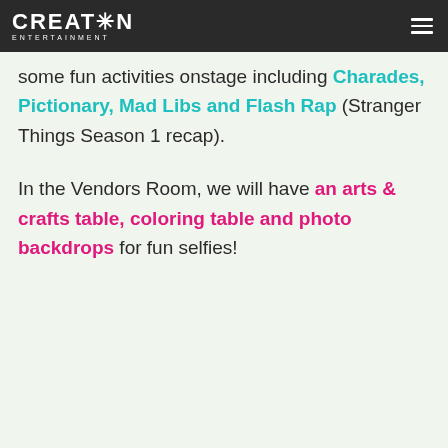CREATION ENTERTAINMENT
some fun activities onstage including Charades, Pictionary, Mad Libs and Flash Rap (Stranger Things Season 1 recap).
In the Vendors Room, we will have an arts & crafts table, coloring table and photo backdrops for fun selfies!